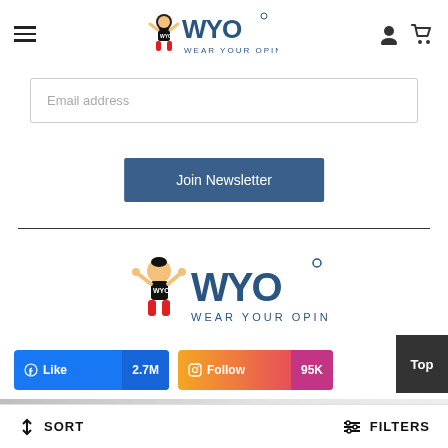[Figure (logo): WYO Wear Your Opinion logo in header with hamburger menu and user/cart icons]
Email address
Join Newsletter
[Figure (logo): WYO Wear Your Opinion logo in footer section]
Like 2.7M
Follow 95K
Top
SORT
FILTERS